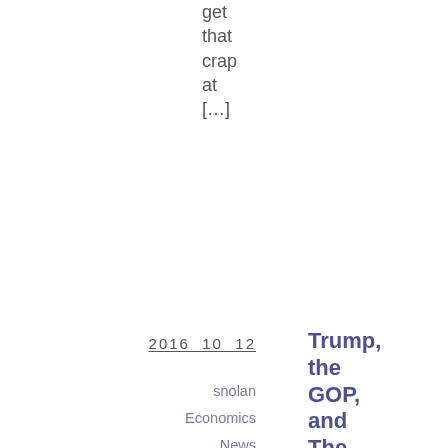get that crap at […]
2016 10 12
snolan
Economics
News
Comments (0)
Trump, the GOP, and The Fall
This is absolutely brilliantly written and worded; and expresses